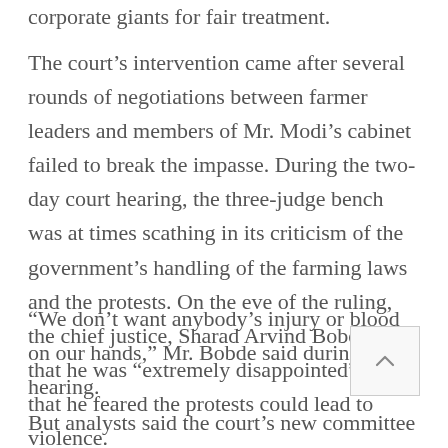corporate giants for fair treatment.
The court's intervention came after several rounds of negotiations between farmer leaders and members of Mr. Modi's cabinet failed to break the impasse. During the two-day court hearing, the three-judge bench was at times scathing in its criticism of the government's handling of the farming laws and the protests. On the eve of the ruling, the chief justice, Sharad Arvind Bobde, said that he was “extremely disappointed” and that he feared the protests could lead to violence.
“We don’t want anybody’s injury or blood on our hands,” Mr. Bobde said during the hearing.
But analysts said the court’s new committee